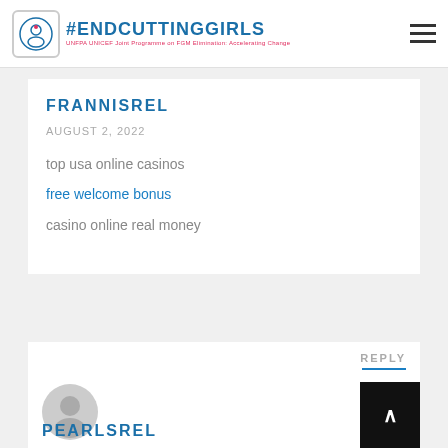#ENDCUTTINGGIRLS — UNFPA UNICEF Joint Programme on FGM Elimination: Accelerating Change
FRANNISREL
AUGUST 2, 2022
top usa online casinos
free welcome bonus
casino online real money
REPLY
[Figure (illustration): Default user avatar — gray circle with silhouette of a person]
PEARLSREL